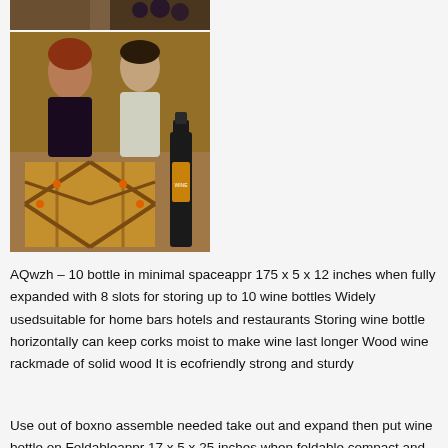[Figure (photo): Partial top image showing wine rack with grapes, cropped]
[Figure (photo): Couple enjoying wine with a wooden accordion-style wine rack holding multiple bottles, and a standalone wine bottle beside it]
AQwzh – 10 bottle in minimal spaceappr 175 x 5 x 12 inches when fully expanded with 8 slots for storing up to 10 wine bottles Widely usedsuitable for home bars hotels and restaurants Storing wine bottle horizontally can keep corks moist to make wine last longer Wood wine rackmade of solid wood It is ecofriendly strong and sturdy
Use out of boxno assemble needed take out and expand then put wine bottle on Foldableappr 17 x 5 x 25 inches when foldable compact and space saving convenient for